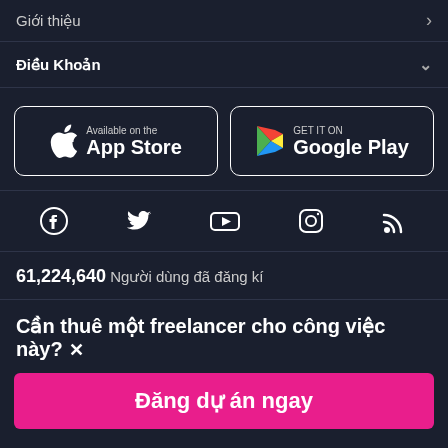Giới thiệu
Điều Khoản
[Figure (other): App Store and Google Play download buttons]
[Figure (other): Social media icons: Facebook, Twitter, YouTube, Instagram, RSS]
61,224,640  Người dùng đã đăng kí
Cần thuê một freelancer cho công việc này? ×
Đăng dự án ngay